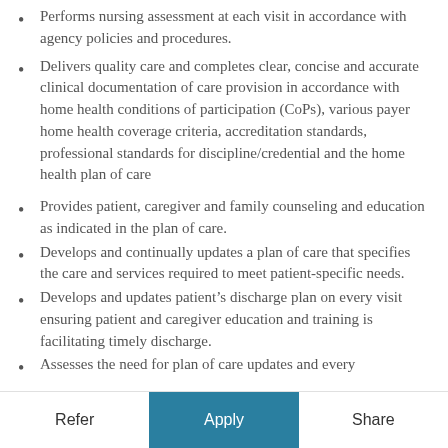Performs nursing assessment at each visit in accordance with agency policies and procedures.
Delivers quality care and completes clear, concise and accurate clinical documentation of care provision in accordance with home health conditions of participation (CoPs), various payer home health coverage criteria, accreditation standards, professional standards for discipline/credential and the home health plan of care
Provides patient, caregiver and family counseling and education as indicated in the plan of care.
Develops and continually updates a plan of care that specifies the care and services required to meet patient-specific needs.
Develops and updates patient’s discharge plan on every visit ensuring patient and caregiver education and training is facilitating timely discharge.
Assesses the need for plan of care updates and every
Refer   Apply   Share